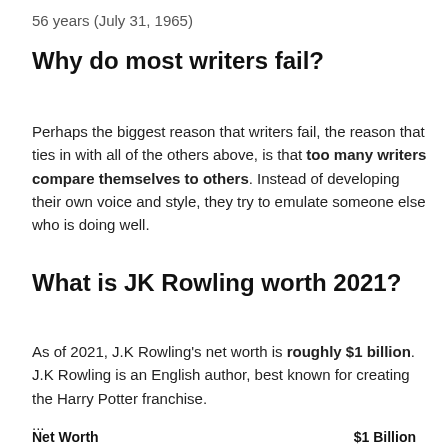56 years (July 31, 1965)
Why do most writers fail?
Perhaps the biggest reason that writers fail, the reason that ties in with all of the others above, is that too many writers compare themselves to others. Instead of developing their own voice and style, they try to emulate someone else who is doing well.
What is JK Rowling worth 2021?
As of 2021, J.K Rowling's net worth is roughly $1 billion. J.K Rowling is an English author, best known for creating the Harry Potter franchise.
...
Net Worth    $1 Billion